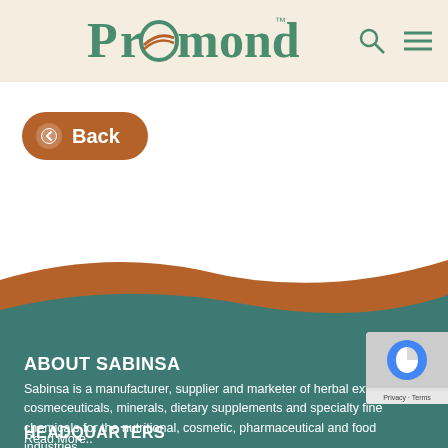Promond™
← Back
ABOUT SABINSA
Sabinsa is a manufacturer, supplier and marketer of herbal extracts, cosmeceuticals, minerals, dietary supplements and specialty fine chemicals for the nutritional, cosmetic, pharmaceutical and food industries.
Read More..
HEADQUARTERS